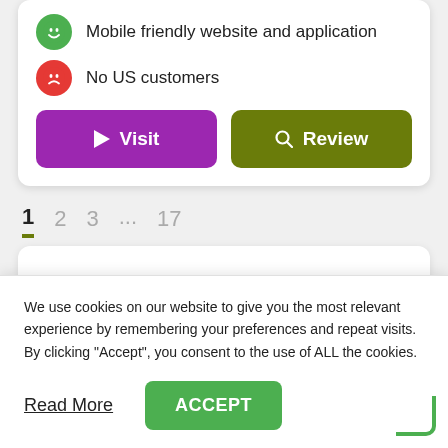Mobile friendly website and application
No US customers
[Figure (other): Two buttons: purple Visit button and green Review button]
1  2  3  ...  17
[Figure (other): White content card area]
We use cookies on our website to give you the most relevant experience by remembering your preferences and repeat visits. By clicking "Accept", you consent to the use of ALL the cookies.
Read More
ACCEPT